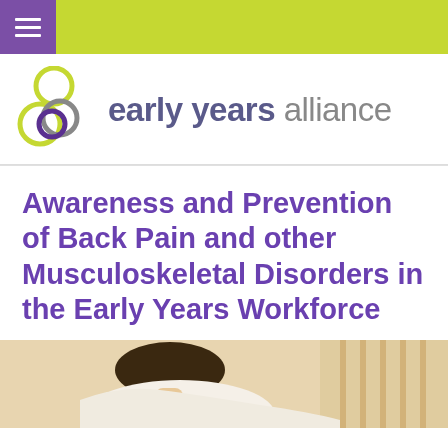Navigation bar with hamburger menu
[Figure (logo): Early Years Alliance logo with overlapping circles (green, grey, purple) and text 'early years alliance']
Awareness and Prevention of Back Pain and other Musculoskeletal Disorders in the Early Years Workforce
[Figure (photo): Partial photo of a person, likely relating to back pain or early years workforce context]